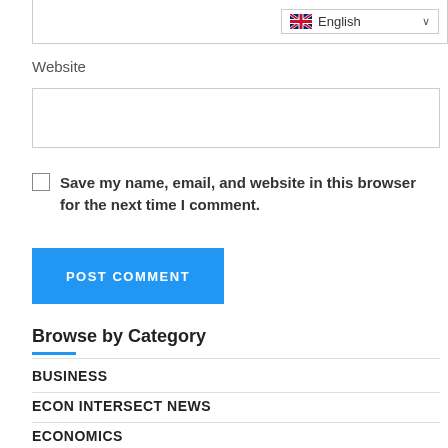[Figure (screenshot): Language selector dropdown showing English with UK flag icon and chevron]
Website
[Figure (screenshot): Empty text input field for website URL]
Save my name, email, and website in this browser for the next time I comment.
[Figure (screenshot): POST COMMENT button in blue]
Browse by Category
BUSINESS
ECON INTERSECT NEWS
ECONOMICS